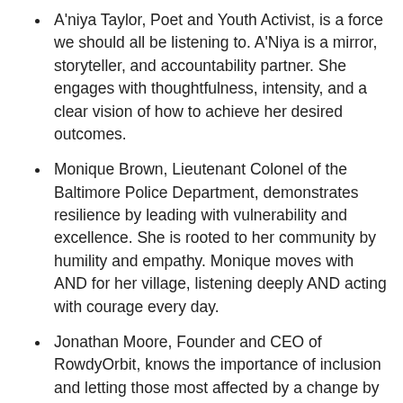A'niya Taylor, Poet and Youth Activist, is a force we should all be listening to. A'Niya is a mirror, storyteller, and accountability partner. She engages with thoughtfulness, intensity, and a clear vision of how to achieve her desired outcomes.
Monique Brown, Lieutenant Colonel of the Baltimore Police Department, demonstrates resilience by leading with vulnerability and excellence. She is rooted to her community by humility and empathy. Monique moves with AND for her village, listening deeply AND acting with courage every day.
Jonathan Moore, Founder and CEO of RowdyOrbit, knows the importance of inclusion and letting those most affected by a change by a part of that change. By empowering the collective IQ of his village to move EVERYONE forward, Jonathon seeks to be a helper — not a hero, a key